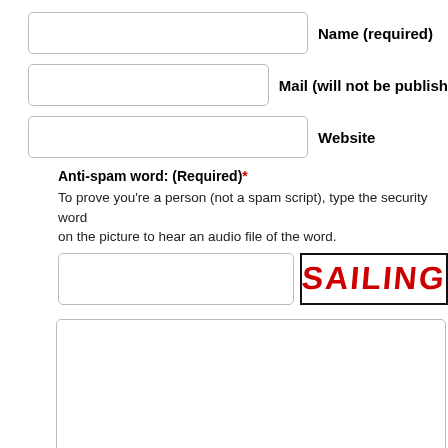Name (required)
Mail (will not be published)
Website
Anti-spam word: (Required)*
To prove you're a person (not a spam script), type the security word shown in the picture. Click on the picture to hear an audio file of the word.
[Figure (other): CAPTCHA image showing the word SAILING in red bold text on white background with black border]